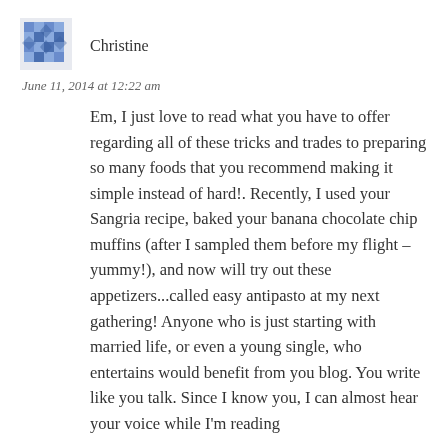[Figure (illustration): Blue decorative avatar/profile picture with snowflake-like pattern]
Christine
June 11, 2014 at 12:22 am
Em, I just love to read what you have to offer regarding all of these tricks and trades to preparing so many foods that you recommend making it simple instead of hard!. Recently, I used your Sangria recipe, baked your banana chocolate chip muffins (after I sampled them before my flight – yummy!), and now will try out these appetizers...called easy antipasto at my next gathering! Anyone who is just starting with married life, or even a young single, who entertains would benefit from you blog. You write like you talk. Since I know you, I can almost hear your voice while I'm reading